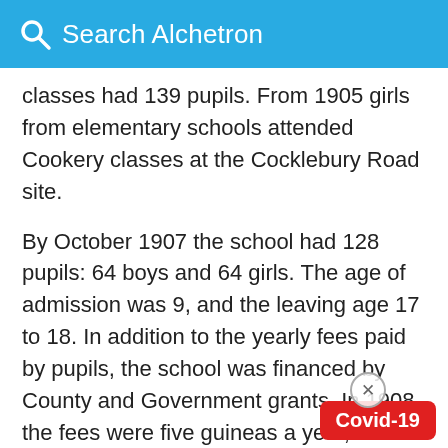Search Alchetron
classes had 139 pupils. From 1905 girls from elementary schools attended Cookery classes at the Cocklebury Road site.
By October 1907 the school had 128 pupils: 64 boys and 64 girls. The age of admission was 9, and the leaving age 17 to 18. In addition to the yearly fees paid by pupils, the school was financed by County and Government grants. In 1908 the fees were five guineas a year, including books. However, there were a number of scholarships available and figures for the year show that of 115 pupils (66 girls and 49 boys), 57 held scholarships, one a "free place", and only 57 were fee-